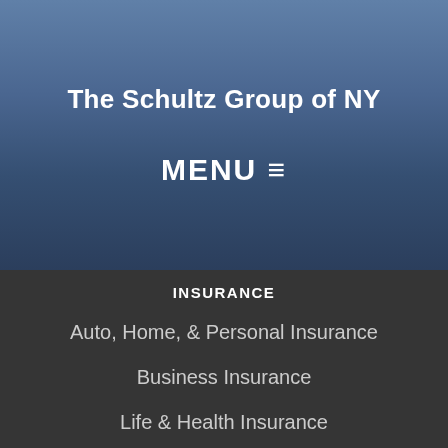The Schultz Group of NY
MENU ≡
INSURANCE
Auto, Home, & Personal Insurance
Business Insurance
Life & Health Insurance
Medicare
Online Reference Pricing S…